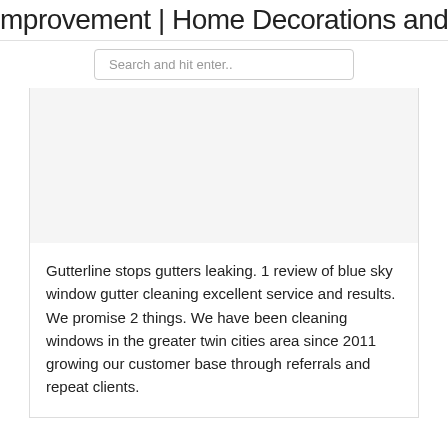mprovement | Home Decorations and
[Figure (other): Search bar with placeholder text 'Search and hit enter..']
[Figure (other): White/light gray image placeholder area inside a bordered content box]
Gutterline stops gutters leaking. 1 review of blue sky window gutter cleaning excellent service and results. We promise 2 things. We have been cleaning windows in the greater twin cities area since 2011 growing our customer base through referrals and repeat clients.